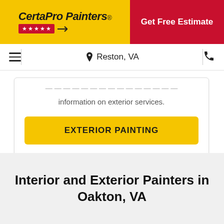CertaPro Painters® | Get Free Estimate
Reston, VA
information on exterior services.
EXTERIOR PAINTING
Interior and Exterior Painters in Oakton, VA